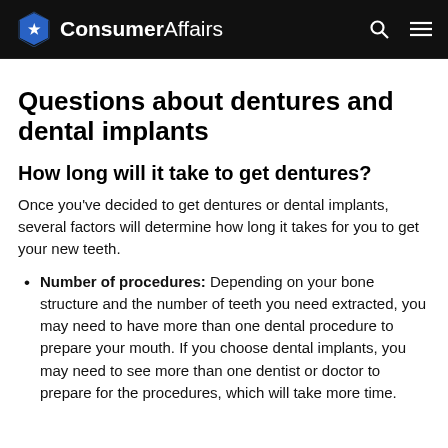ConsumerAffairs
Questions about dentures and dental implants
How long will it take to get dentures?
Once you've decided to get dentures or dental implants, several factors will determine how long it takes for you to get your new teeth.
Number of procedures: Depending on your bone structure and the number of teeth you need extracted, you may need to have more than one dental procedure to prepare your mouth. If you choose dental implants, you may need to see more than one dentist or doctor to prepare for the procedures, which will take more time.